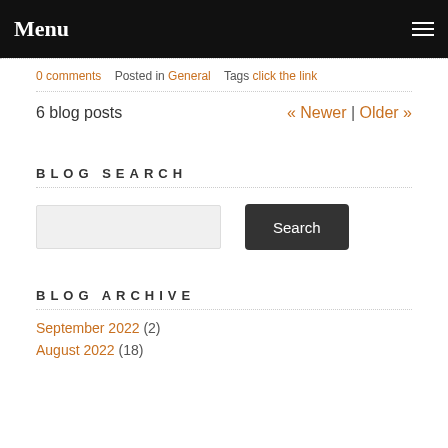Menu
0 comments   Posted in General   Tags click the link
6 blog posts   « Newer | Older »
BLOG SEARCH
BLOG ARCHIVE
September 2022 (2)
August 2022 (18)